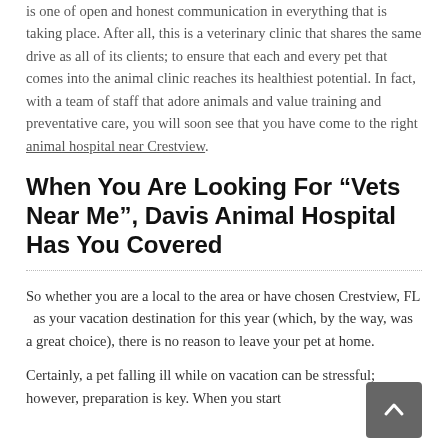is one of open and honest communication in everything that is taking place. After all, this is a veterinary clinic that shares the same drive as all of its clients; to ensure that each and every pet that comes into the animal clinic reaches its healthiest potential. In fact, with a team of staff that adore animals and value training and preventative care, you will soon see that you have come to the right animal hospital near Crestview.
When You Are Looking For “Vets Near Me”, Davis Animal Hospital Has You Covered
So whether you are a local to the area or have chosen Crestview, FL  as your vacation destination for this year (which, by the way, was a great choice), there is no reason to leave your pet at home.
Certainly, a pet falling ill while on vacation can be stressful; however, preparation is key. When you start